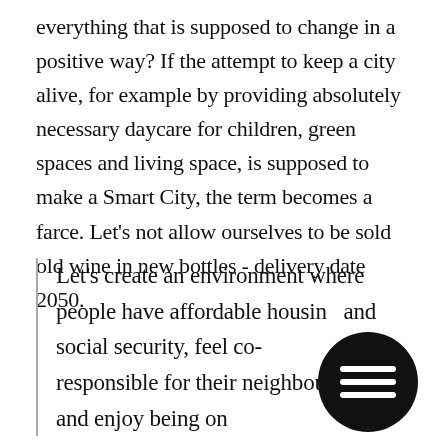everything that is supposed to change in a positive way? If the attempt to keep a city alive, for example by providing absolutely necessary daycare for children, green spaces and living space, is supposed to make a Smart City, the term becomes a farce. Let's not allow ourselves to be sold old wine in new bottles - delivery date 2050.
Let's create an environment where people have affordable housing and social security, feel co-responsible for their neighbourhood and enjoy being on